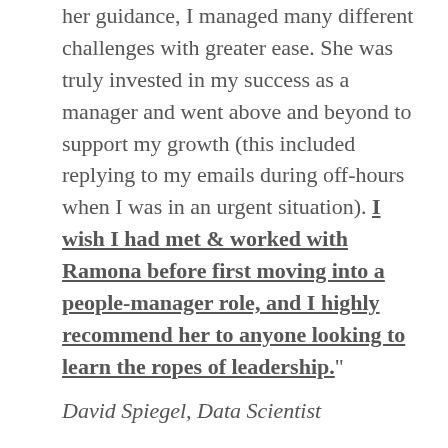her guidance, I managed many different challenges with greater ease. She was truly invested in my success as a manager and went above and beyond to support my growth (this included replying to my emails during off-hours when I was in an urgent situation). I wish I had met & worked with Ramona before first moving into a people-manager role, and I highly recommend her to anyone looking to learn the ropes of leadership."
David Spiegel, Data Scientist